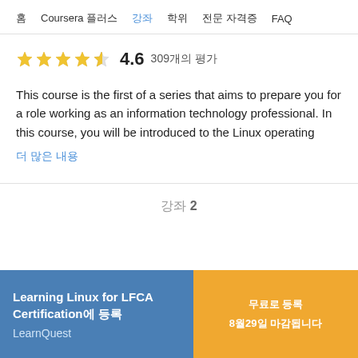홈  Coursera 플러스  강좌  학위  전문 자격증  FAQ
★★★★½  4.6  309개의 평가
This course is the first of a series that aims to prepare you for a role working as an information technology professional. In this course, you will be introduced to the Linux operating...
더 많은 내용
강좌 2
Learning Linux for LFCA Certification에 등록
LearnQuest
무료로 등록
8월29일 마감됩니다